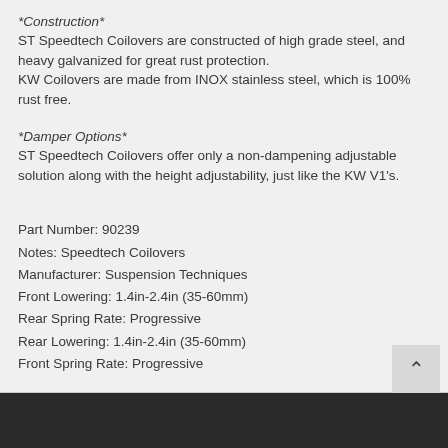*Construction*
ST Speedtech Coilovers are constructed of high grade steel, and heavy galvanized for great rust protection.
KW Coilovers are made from INOX stainless steel, which is 100% rust free.
*Damper Options*
ST Speedtech Coilovers offer only a non-dampening adjustable solution along with the height adjustability, just like the KW V1's.
Part Number: 90239
Notes: Speedtech Coilovers
Manufacturer: Suspension Techniques
Front Lowering: 1.4in-2.4in (35-60mm)
Rear Spring Rate: Progressive
Rear Lowering: 1.4in-2.4in (35-60mm)
Front Spring Rate: Progressive